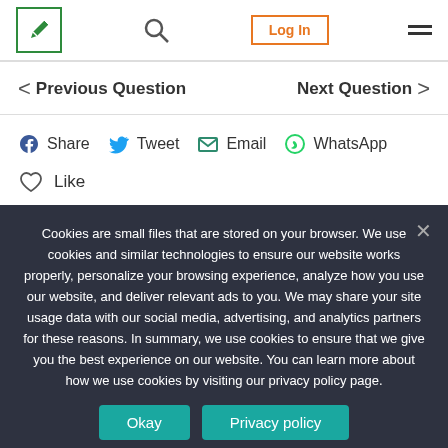Log In
< Previous Question    Next Question >
Share  Tweet  Email  WhatsApp
Like
Cookies are small files that are stored on your browser. We use cookies and similar technologies to ensure our website works properly, personalize your browsing experience, analyze how you use our website, and deliver relevant ads to you. We may share your site usage data with our social media, advertising, and analytics partners for these reasons. In summary, we use cookies to ensure that we give you the best experience on our website. You can learn more about how we use cookies by visiting our privacy policy page.
Okay  Privacy policy